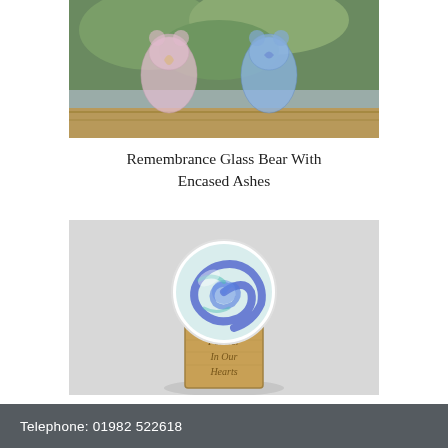[Figure (photo): Two glass bear figurines with encased ashes — one pink/clear and one blue — sitting on a wooden surface outdoors with green foliage in background.]
Remembrance Glass Bear With Encased Ashes
[Figure (photo): A round glass disk with blue and teal swirling ashes pattern, mounted on a wooden block base engraved with 'Forever In Our Hearts', against a light grey background.]
Remembrance Glass Disk with Encased Ashes on Wooden Base.
Telephone: 01982 522618